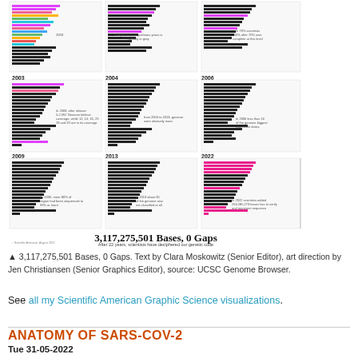[Figure (infographic): Multi-panel infographic showing human genome sequencing progress from early years through 2022, displaying chromosome-level bar charts for years including 2003, 2004, 2006, 2009, 2013, and 2022. Title reads '3,117,275,501 Bases, 0 Gaps' with subtitle 'After 22 years, scientists have deciphered our genetic code'. Includes body text about the Human Genome Project and completion.]
▲ 3,117,275,501 Bases, 0 Gaps. Text by Clara Moskowitz (Senior Editor), art direction by Jen Christiansen (Senior Graphics Editor), source: UCSC Genome Browser.
See all my Scientific American Graphic Science visualizations.
ANATOMY OF SARS-COV-2
Tue 31-05-2022
My poster showing the genome structure and position...